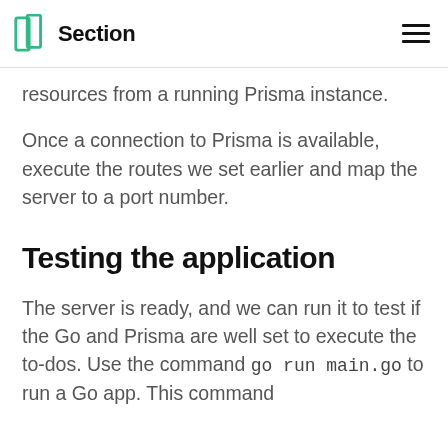Section
resources from a running Prisma instance.
Once a connection to Prisma is available, execute the routes we set earlier and map the server to a port number.
Testing the application
The server is ready, and we can run it to test if the Go and Prisma are well set to execute the to-dos. Use the command go run main.go to run a Go app. This command